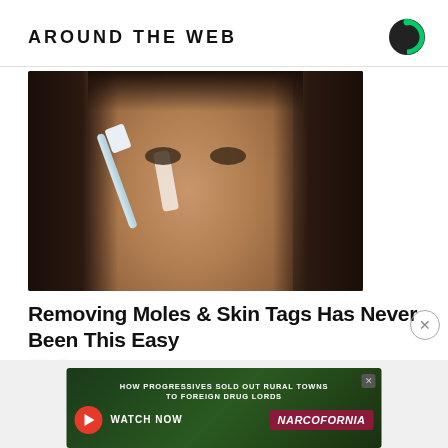AROUND THE WEB
[Figure (photo): Woman applying a white strip or cream to her nose with what appears to be a toothbrush or applicator. She has long dark hair and is looking slightly downward. Background shows bookshelves.]
Removing Moles & Skin Tags Has Never Been This Easy
Mde B... (blurred text)
[Figure (infographic): Advertisement banner: HOW PROGRESSIVES SOLD OUT RURAL TOWNS TO FOREIGN DRUG LORDS - WATCH NOW - NARCOFORNIA]